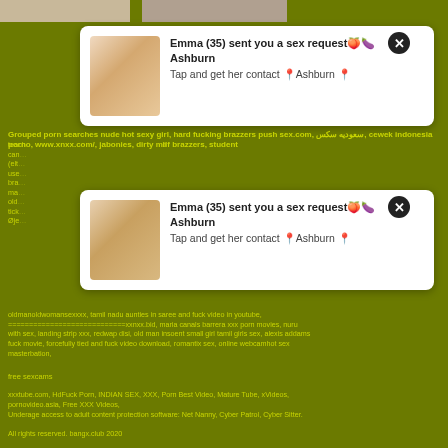Grouped porn searches nude hot sexy girl, hard fucking brazzers push sex.com, سعودیه سکس, cewek indonesia porno, www.xnxx.com/, jabonies, dirty milf brazzers, student teach...
cam... (elt... use... bra... ma... old... tick... Øje... oldmanoldwomansexxxx, tamil nadu aunties in saree and fuck video in youtube, ============================xxnxx.bid, maria canals barrera xxx porn movies, nuru with sex, landing strip xxx, redwap disi, old man insoent small girl tamil girls sex, alexis addams fuck movie, forcefully tied and fuck video download, romantix sex, online webcamhot sex masterbation,
free sexcams
xxxtube.com, HdFuck Porn, INDIAN SEX, XXX, Porn Best Video, Mature Tube, xVideos, pornovideo.asia, Free XXX Videos,
Underage access to adult content protection software: Net Nanny, Cyber Patrol, Cyber Sitter.

All rights reserved. bangx.club 2020